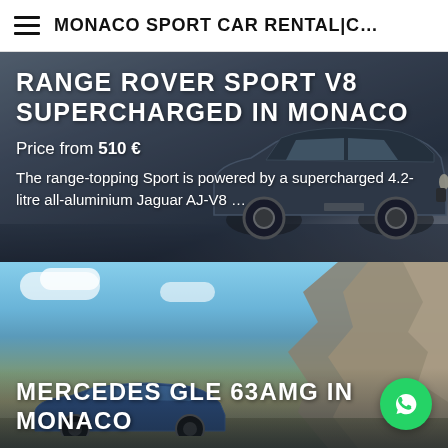≡ MONACO SPORT CAR RENTAL|C…
RANGE ROVER SPORT V8 SUPERCHARGED IN MONACO
Price from 510 €
The range-topping Sport is powered by a supercharged 4.2-litre all-aluminium Jaguar AJ-V8 …
[Figure (photo): Dark grey Range Rover Sport V8 Supercharged driving on road, viewed from front-right angle]
[Figure (photo): Mercedes GLE 63AMG on mountain road with blue sky and rocky cliff background]
MERCEDES GLE 63AMG IN MONACO